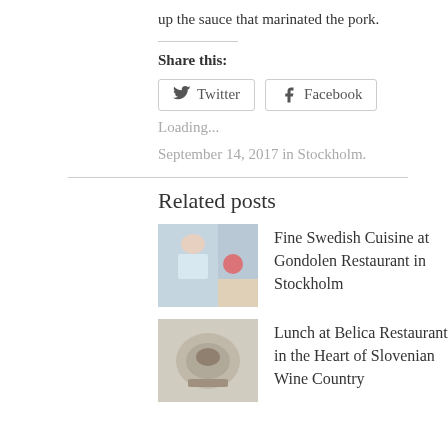up the sauce that marinated the pork.
Share this:
[Figure (other): Twitter and Facebook share buttons]
Loading...
September 14, 2017 in Stockholm.
Related posts
[Figure (photo): Thumbnail image for Fine Swedish Cuisine at Gondolen Restaurant in Stockholm]
Fine Swedish Cuisine at Gondolen Restaurant in Stockholm
[Figure (photo): Thumbnail image for Lunch at Belica Restaurant in the Heart of Slovenian Wine Country]
Lunch at Belica Restaurant in the Heart of Slovenian Wine Country